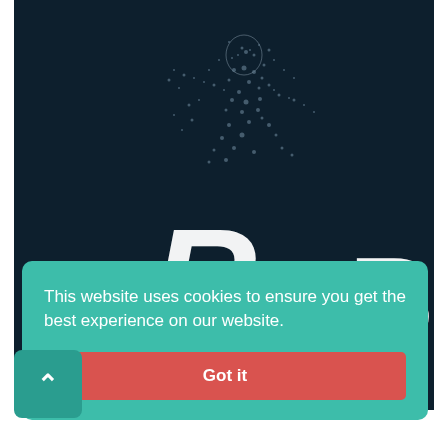[Figure (logo): Dark navy background with a particle/pixel art figure of a soccer player kicking a ball, with a large stylized 'R' letter and 'BET' text forming the 'RBET' sports betting website logo. A soccer ball is visible between the R and BET text.]
This website uses cookies to ensure you get the best experience on our website.
Got it